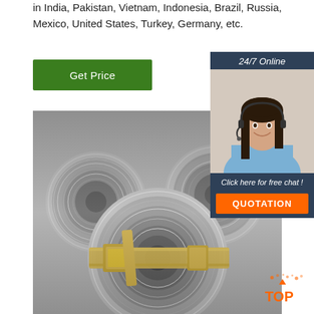in India, Pakistan, Vietnam, Indonesia, Brazil, Russia, Mexico, United States, Turkey, Germany, etc.
Get Price
24/7 Online
[Figure (photo): Customer service representative with headset smiling]
Click here for free chat !
QUOTATION
[Figure (photo): Steel coils/rolls stacked together, bound with straps]